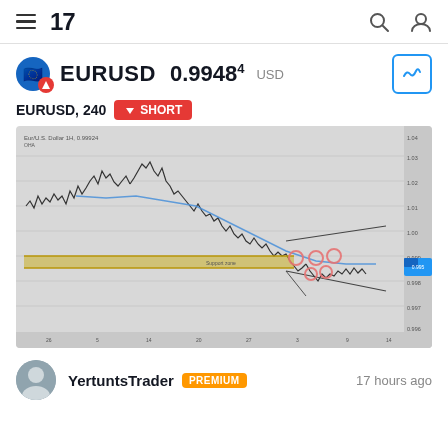TradingView navigation bar with hamburger menu, 17 logo, search and account icons
EURUSD 0.99484 USD
EURUSD, 240 SHORT
[Figure (continuous-plot): EURUSD 4H candlestick chart with a downtrend from a high of ~1.04, declining to ~0.99. A yellow horizontal support zone is drawn at approximately 0.995. Multiple pink/red circle annotations mark key resistance touches/retests. A rising wedge/channel pattern is drawn in the lower portion of the chart. A blue descending moving average curves across the chart. The right side shows price levels. Time axis along the bottom.]
YertuntsTrader PREMIUM 17 hours ago